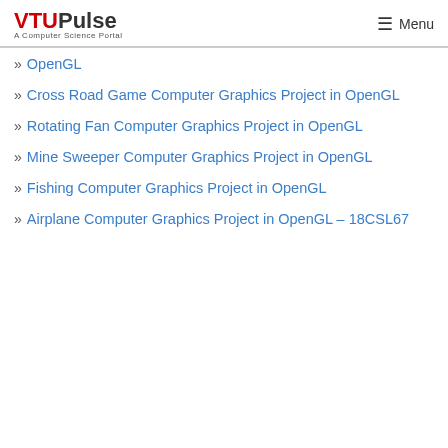VTUPulse — A Computer Science Portal | Menu
OpenGL
Cross Road Game Computer Graphics Project in OpenGL
Rotating Fan Computer Graphics Project in OpenGL
Mine Sweeper Computer Graphics Project in OpenGL
Fishing Computer Graphics Project in OpenGL
Airplane Computer Graphics Project in OpenGL – 18CSL67